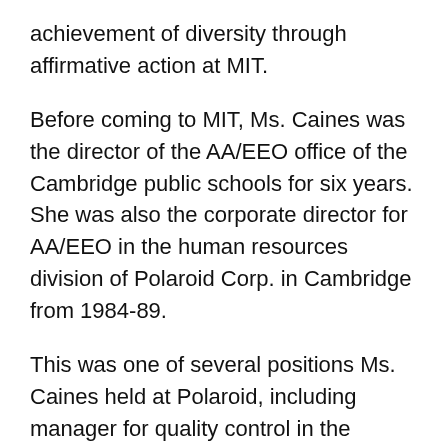achievement of diversity through affirmative action at MIT.
Before coming to MIT, Ms. Caines was the director of the AA/EEO office of the Cambridge public schools for six years. She was also the corporate director for AA/EEO in the human resources division of Polaroid Corp. in Cambridge from 1984-89.
This was one of several positions Ms. Caines held at Polaroid, including manager for quality control in the battery manufacturing division, manager for domestic consumer relations in the marketing division, and senior laboratory supervisor and scientist in film research and development. She also conducted analytical research regarding the carcinogenic effects